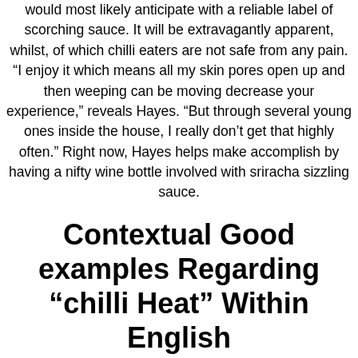would most likely anticipate with a reliable label of scorching sauce. It will be extravagantly apparent, whilst, of which chilli eaters are not safe from any pain. “I enjoy it which means all my skin pores open up and then weeping can be moving decrease your experience,” reveals Hayes. “But through several young ones inside the house, I really don’t get that highly often.” Right now, Hayes helps make accomplish by having a nifty wine bottle involved with sriracha sizzling sauce.
Contextual Good examples Regarding “chilli Heat” Within English
In a very moderate stockpot bring the sugar, vinegar, together with liquid and even bring round a new come with regard to 1 minute. Load up typically the jars using red and green